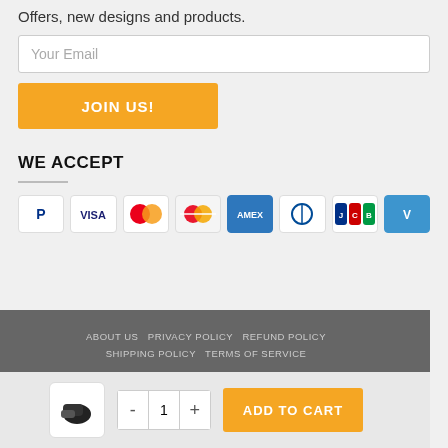Offers, new designs and products.
Your Email
JOIN US!
WE ACCEPT
[Figure (other): Payment method icons: PayPal, Visa, Mastercard, Maestro, American Express, Diners Club, JCB, Venmo]
ABOUT US  PRIVACY POLICY  REFUND POLICY  SHIPPING POLICY  TERMS OF SERVICE
Copyright 2018 - 2022 © MangoPanda
- 1 + ADD TO CART